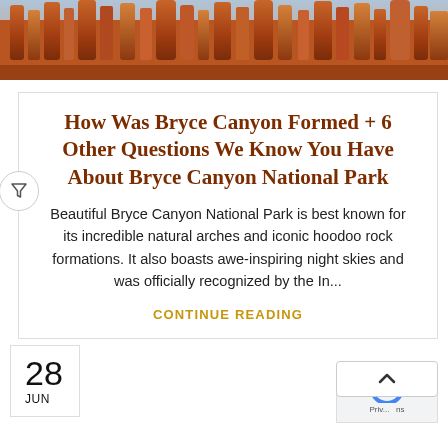[Figure (photo): Aerial/wide view of Bryce Canyon National Park showing red and orange hoodoo rock formations with canyon landscape]
How Was Bryce Canyon Formed + 6 Other Questions We Know You Have About Bryce Canyon National Park
Beautiful Bryce Canyon National Park is best known for its incredible natural arches and iconic hoodoo rock formations. It also boasts awe-inspiring night skies and was officially recognized by the In...
CONTINUE READING
28
JUN